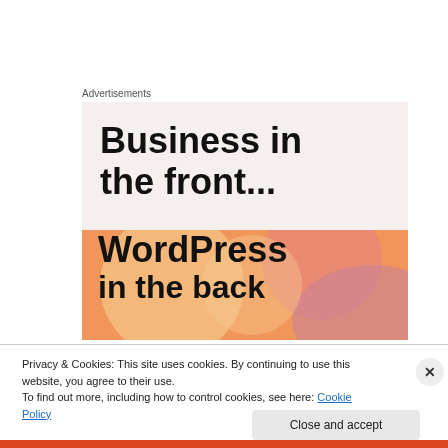Advertisements
[Figure (illustration): Advertisement banner showing 'Business in the front...' text on light beige background, and below it an orange/peach rounded banner with 'WordPress in the back' text in bold black font]
Privacy & Cookies: This site uses cookies. By continuing to use this website, you agree to their use.
To find out more, including how to control cookies, see here: Cookie Policy
Close and accept